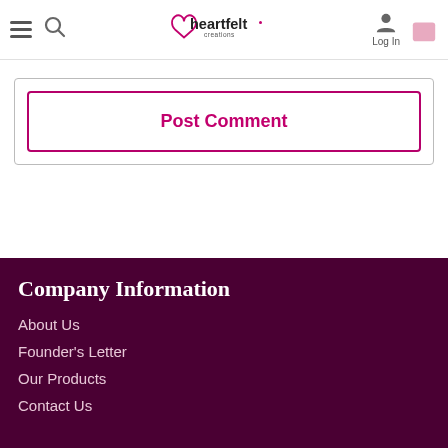heartfelt creations — Log In
Post Comment
Company Information
About Us
Founder's Letter
Our Products
Contact Us